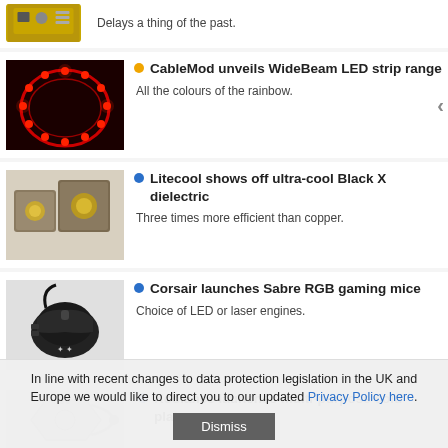[Figure (photo): Partial top item showing a PCB/microcontroller board (zero:bit) thumbnail]
Delays a thing of the past.
[Figure (photo): Red LED strip light coiled in a circle on dark background]
CableMod unveils WideBeam LED strip range
All the colours of the rainbow.
[Figure (photo): Litecool Black X dielectric thermal pads/components on grey background]
Litecool shows off ultra-cool Black X dielectric
Three times more efficient than copper.
[Figure (photo): Black Corsair Sabre RGB gaming mouse with white logo]
Corsair launches Sabre RGB gaming mice
Choice of LED or laser engines.
[Figure (photo): Koolance cold plate hardware component (partial)]
Koolance launches multi-purpose cold plates
In line with recent changes to data protection legislation in the UK and Europe we would like to direct you to our updated Privacy Policy here.
Dismiss